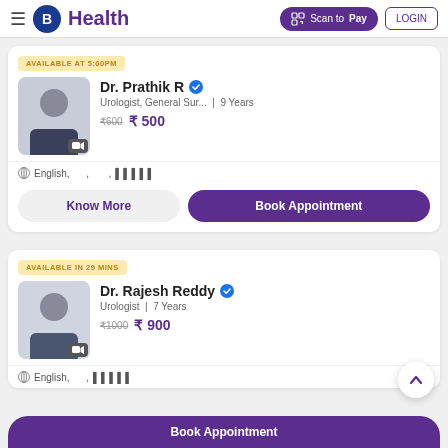B Health | Scan to Pay | LOGIN
AVAILABLE AT 5:00PM
Dr. Prathik R — Urologist, General Sur... | 9 Years — ₹600 ₹500
English, , ,
Know More | Book Appointment
AVAILABLE IN 29 MINS
Dr. Rajesh Reddy — Urologist | 7 Years — ₹1000 ₹900
English, ,